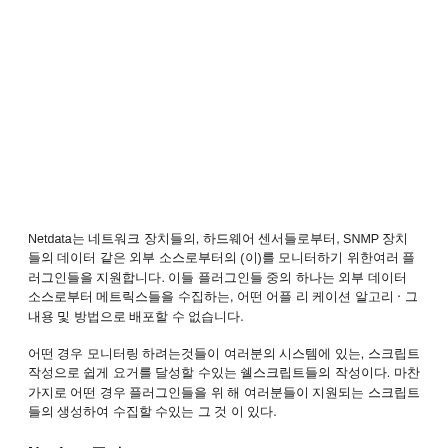Netdata는 네트워크 장치들의, 하드웨어 센서들로부터, SNMP 장치들의 데이터 같은 외부 소스로부터의 (이)를 모니터하기 위한여러 플러그인들을 지원합니다. 이들 플러그인들 중의 하나는 외부 데이터 소스로부터 메트릭스들을 수집하는, 어떤 어플 리 케이션 알고리 ‧ 그 내용 및 방법으로 배포할 수 없습니다.
어떤 경우 모니터링 하려는것들이 여러분의 시스템에 있는, 스크립트 작성으로 쉽게 요거를 달성할 수있는 쉘스크립트들의 작성이다. 마찬가지로 어떤 경우 플러그인들을 위 해 여러분들이 지원되는 스크립트들의 생성하여 수집할 수있는 그 것 이 있다.
Netdata 플러그